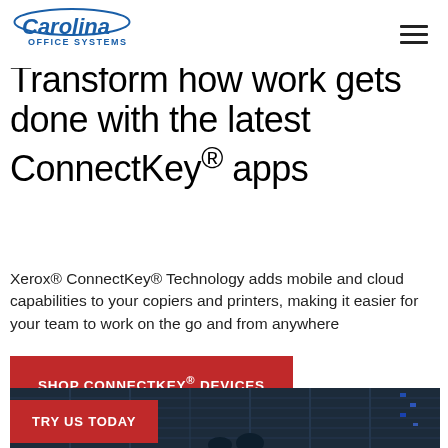Carolina Office Systems
Transform how work gets done with the latest ConnectKey® apps
Xerox® ConnectKey® Technology adds mobile and cloud capabilities to your copiers and printers, making it easier for your team to work on the go and from anywhere
SHOP CONNECTKEY® DEVICES
[Figure (photo): People working in a server room or data center environment, dark blue tones with server rack lighting]
TRY US TODAY